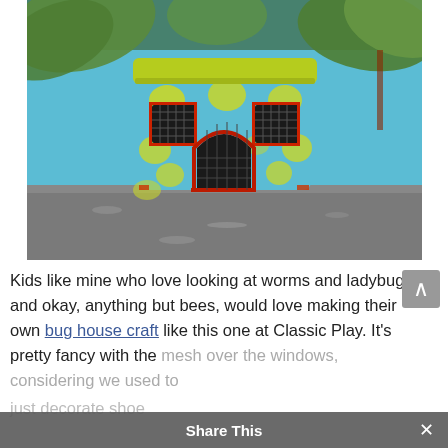[Figure (photo): A handmade bug house craft made from a cylindrical container painted light blue with yellow-green polka dots, featuring small mesh-covered windows and a door, with a yellow-green lid on top. The bug house sits on a gray surface with green leaves in the background.]
Kids like mine who love looking at worms and ladybugs and okay, anything but bees, would love making their own bug house craft like this one at Classic Play. It's pretty fancy with the mesh over the windows, considering we used to just decorate shoe boxes and poke holes